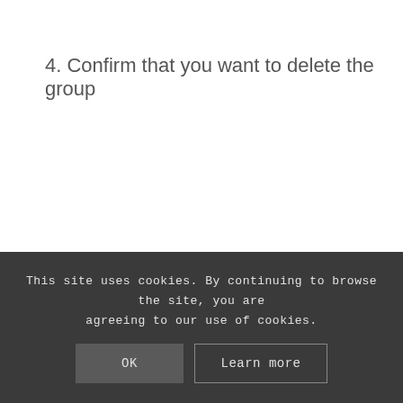4. Confirm that you want to delete the group
This site uses cookies. By continuing to browse the site, you are agreeing to our use of cookies.